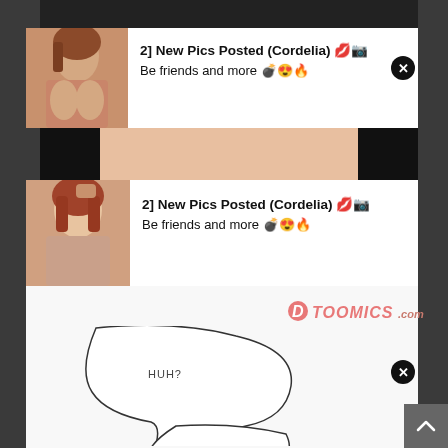[Figure (screenshot): Top anime/manga panel banner strip showing character]
[Figure (screenshot): Advertisement: photo of woman, text '2] New Pics Posted (Cordelia) + emojis, Be friends and more + emojis', with close X button]
[Figure (screenshot): Middle anime/manga panel strip showing character body]
[Figure (screenshot): Advertisement: photo of woman, text '2] New Pics Posted (Cordelia) + emojis, Be friends and more + emojis', with close X button]
[Figure (illustration): Toomics.com watermark logo in pink/salmon color]
[Figure (illustration): Comic speech bubble with text 'HUH?' and partial text 'ARE YOU']
[Figure (screenshot): Scroll-to-top button (upward arrow) in bottom right corner]